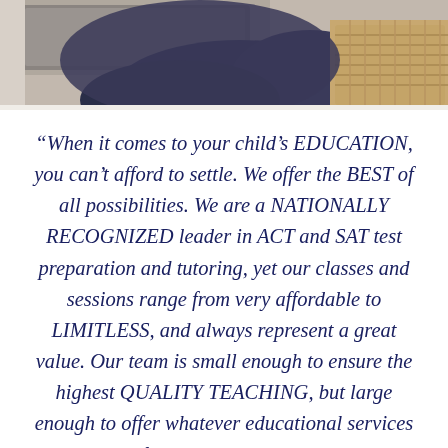[Figure (photo): Partial photo of a person sitting with a laptop, viewed from mid-torso down, wearing dark jeans, with a wicker/rattan basket visible in background]
“When it comes to your child’s EDUCATION, you can’t afford to settle. We offer the BEST of all possibilities. We are a NATIONALLY RECOGNIZED leader in ACT and SAT test preparation and tutoring, yet our classes and sessions range from very affordable to LIMITLESS, and always represent a great value. Our team is small enough to ensure the highest QUALITY TEACHING, but large enough to offer whatever educational services you need, from math & science tutors, to college essay and writing help. No matter if you are a Columbus,